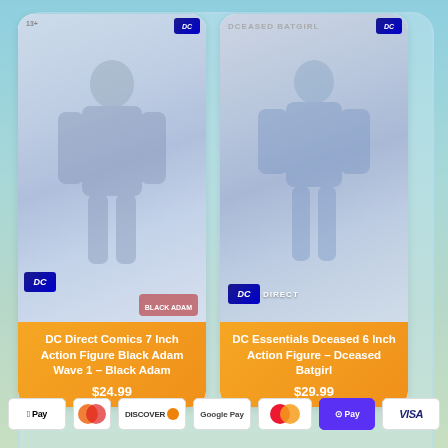[Figure (photo): DC Direct Comics 7 Inch Action Figure Black Adam Wave 1 - Black Adam product card showing blurred action figure packaging with DC logo badge]
DC Direct Comics 7 Inch Action Figure Black Adam Wave 1 - Black Adam
$24.99
[Figure (photo): DC Essentials Dceased 6 Inch Action Figure - Dceased Batgirl product card showing blurred action figure packaging with DC Direct logo]
DC Essentials Dceased 6 Inch Action Figure - Dceased Batgirl
$29.99
[Figure (infographic): Payment method icons row showing: Apple Pay, Diners Club, Discover, Google Pay, Mastercard, Shop Pay, Visa]